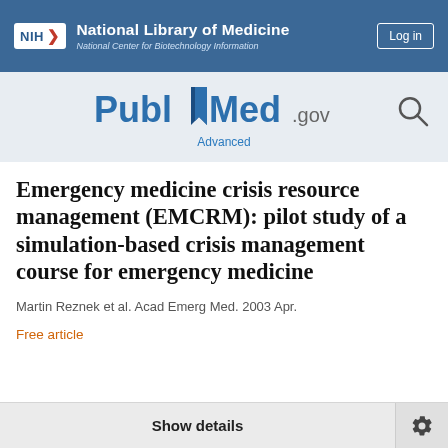NIH National Library of Medicine National Center for Biotechnology Information
[Figure (logo): PubMed.gov logo with search icon and Advanced link]
Emergency medicine crisis resource management (EMCRM): pilot study of a simulation-based crisis management course for emergency medicine
Martin Reznek et al. Acad Emerg Med. 2003 Apr.
Free article
Show details